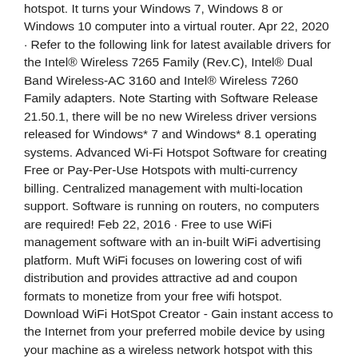hotspot. It turns your Windows 7, Windows 8 or Windows 10 computer into a virtual router. Apr 22, 2020 · Refer to the following link for latest available drivers for the Intel® Wireless 7265 Family (Rev.C), Intel® Dual Band Wireless-AC 3160 and Intel® Wireless 7260 Family adapters. Note Starting with Software Release 21.50.1, there will be no new Wireless driver versions released for Windows* 7 and Windows* 8.1 operating systems. Advanced Wi-Fi Hotspot Software for creating Free or Pay-Per-Use Hotspots with multi-currency billing. Centralized management with multi-location support. Software is running on routers, no computers are required! Feb 22, 2016 · Free to use WiFi management software with an in-built WiFi advertising platform. Muft WiFi focuses on lowering cost of wifi distribution and provides attractive ad and coupon formats to monetize from your free wifi hotspot. Download WiFi HotSpot Creator - Gain instant access to the Internet from your preferred mobile device by using your machine as a wireless network hotspot with this simple tool